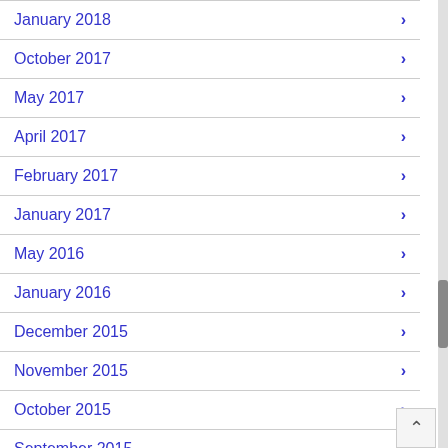January 2018
October 2017
May 2017
April 2017
February 2017
January 2017
May 2016
January 2016
December 2015
November 2015
October 2015
September 2015
August 2015